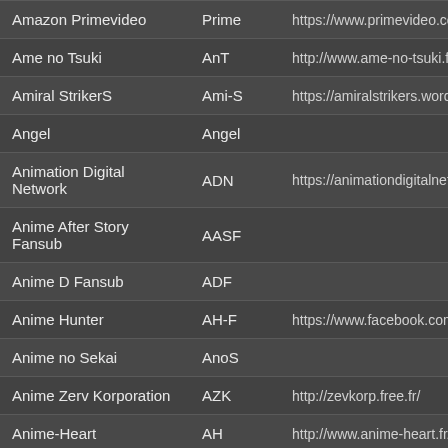| Name | Abbreviation | URL |
| --- | --- | --- |
| Amazon Primevideo | Prime | https://www.primevideo.com/ |
| Ame no Tsuki | AnT | http://www.ame-no-tsuki.fr/ |
| Amiral StrikerS | Ami-S | https://amiralstrikers.wordp… |
| Angel | Angel |  |
| Animation Digital Network | ADN | https://animationdigitalnetw… |
| Anime After Story Fansub | AASF |  |
| Anime D Fansub | ADF |  |
| Anime Hunter | AH-F | https://www.facebook.com/a… |
| Anime no Sekai | AnoS |  |
| Anime Zerv Korporation | AZK | http://zevkorp.free.fr/ |
| Anime-Heart | AH | http://www.anime-heart.fr/ |
| Anime-Llumina | A-Ll | http://www.llumina.net/ |